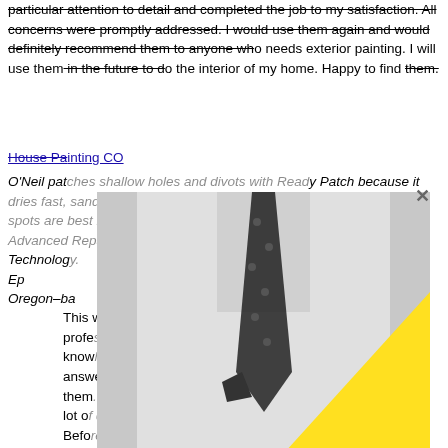particular attention to detail and completed the job to my satisfaction. All concerns were promptly addressed. I would use them again and would definitely recommend them to anyone who needs exterior painting. I will use them in the future to do the interior of my home. Happy to find them.
House Painting CO
O'Neil patches shallow holes and divots with Ready Patch because it dries fast, sands smooth, and stays flexible. Deep cracks and rotten spots are best repaired with two-step epoxies, such as those made by Advanced Repair Technology. Repairing Rot with Epoxy. Avoid auto-body fillers on wood — says Portland, Oregon-based ge. "They look good a...
[Figure (photo): A person in a white dress shirt and black polka-dot tie with a pocket square, overlaid with a large yellow triangle shape. An X close button is visible in the upper right of the overlay.]
This w... h is professional and knowledgeable. During our initial meeting he answered most of my questions before I asked them. This is quite an accomplishment as I ask a lot of questions. Products used were high quality. Before work began, Peter said that punctuality is key. The teams arrived about 15 minutes prior to starting each work day. His teams were skilled, meticulous in their work, and responsive to any...